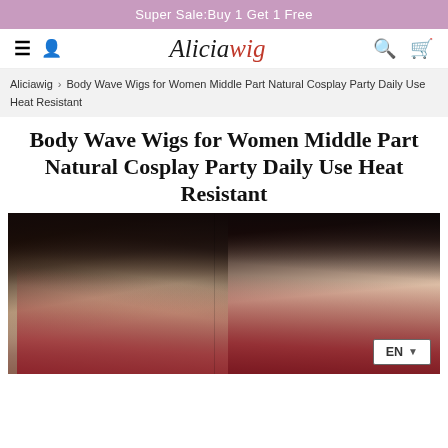Super Sale:Buy 1 Get 1 Free
Aliciawig navigation bar with logo, hamburger menu, user icon, search and cart
Aliciawig › Body Wave Wigs for Women Middle Part Natural Cosplay Party Daily Use Heat Resistant
Body Wave Wigs for Women Middle Part Natural Cosplay Party Daily Use Heat Resistant
[Figure (photo): Two women wearing body wave wigs — left: dark ombre (black to burgundy/red) middle part wig, close-up of face with blue eyes; right: black to dark red/burgundy body wave wig, showing full face with red lips]